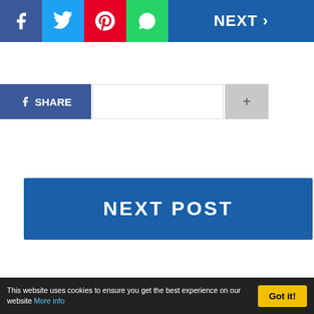[Figure (screenshot): Social media sharing toolbar with Facebook, Twitter, Pinterest, WhatsApp icons and NEXT > button on dark blue background]
[Figure (screenshot): Facebook Share button row with share count field and plus button]
[Figure (screenshot): Dark blue NEXT POST banner button]
[Figure (photo): Three side-by-side video stills of a man wearing a white cap with W logo and a grey polo shirt, speaking or gesturing]
This website uses cookies to ensure you get the best experience on our website More info
Got it!